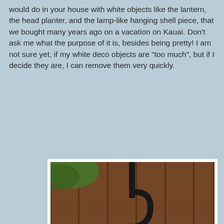would do in your house with white objects like the lantern, the head planter, and the lamp-like hanging shell piece, that we bought many years ago on a vacation on Kauai. Don't ask me what the purpose of it is, besides being pretty! I am not sure yet, if my white deco objects are "too much", but if I decide they are, I can remove them very quickly.
[Figure (photo): A white decorative metal lantern with star cutouts hanging from a black curved iron hook, against a brown wooden fence background with a green leaf visible in the upper left corner.]